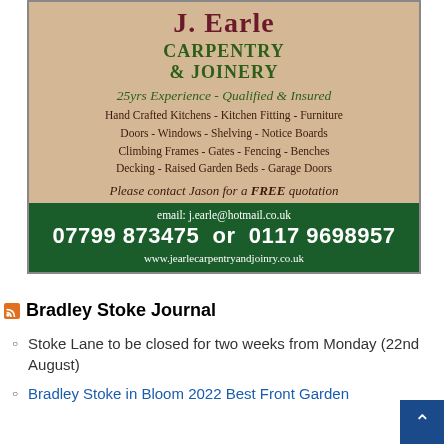[Figure (advertisement): J. Earle Carpentry & Joinery advertisement with tan/beige background and green footer. Shows company name, services list, contact information including email j.earle@hotmail.com, phone numbers 07799 873475 and 0117 9698957, and website www.jearlecarpentryandjoinry.co.uk]
Bradley Stoke Journal
Stoke Lane to be closed for two weeks from Monday (22nd August)
Bradley Stoke in Bloom 2022 Best Front Garden